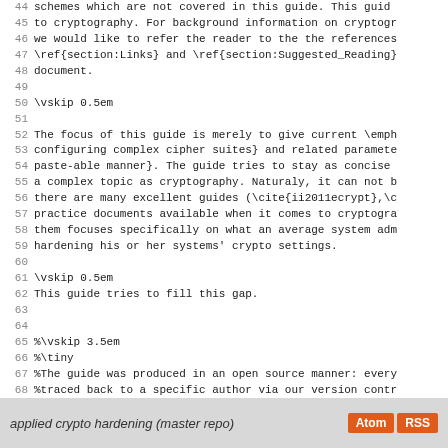44 schemes which are not covered in this guide. This guid
45 to cryptography. For background information on cryptogr
46 we would like to refer the reader to the the references
47 \ref{section:Links} and \ref{section:Suggested_Reading}
48 document.
49 
50 \vskip 0.5em
51 
52 The focus of this guide is merely to give current \emph
53 configuring complex cipher suites} and related paramete
54 paste-able manner}. The guide tries to stay as concise
55 a complex topic as cryptography. Naturaly, it can not b
56 there are many excellent guides (\cite{ii2011ecrypt},\c
57 practice documents available when it comes to cryptogra
58 them focuses specifically on what an average system adm
59 hardening his or her systems' crypto settings.
60 
61 \vskip 0.5em
62 This guide tries to fill this gap.
63 
64 
65 %\vskip 3.5em
66 %\tiny
67 %The guide was produced in an open source manner: every
68 %traced back to a specific author via our version contr
69 
70 
71 
72 \end{abstract}
applied crypto hardening (master repo)